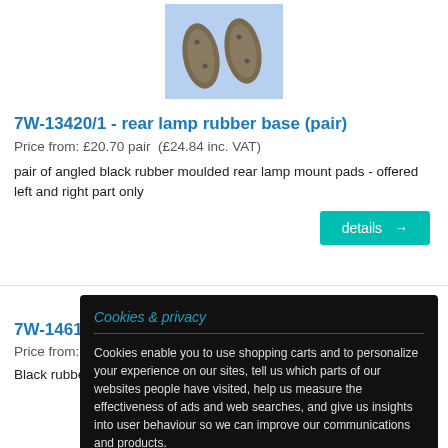[Figure (photo): Two oval-shaped black rubber lamp mount pads on a blue background]
7W-13420/1 - rear lamp rubber base (pair)
Price from: £20.70 pair  (£24.84 inc. VAT)
pair of angled black rubber moulded rear lamp mount pads - offered left and right part only
details →
7W-14616 …
Price from: £2…
Black rubber moulded part, fits 40mm hole in floor panel,
Cookies & privacy
Cookies enable you to use shopping carts and to personalize your experience on our sites, tell us which parts of our websites people have visited, help us measure the effectiveness of ads and web searches, and give us insights into user behaviour so we can improve our communications and products.
Accept cookies    Customize cookies